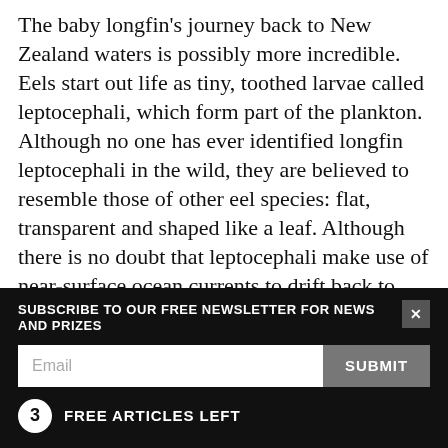The baby longfin's journey back to New Zealand waters is possibly more incredible. Eels start out life as tiny, toothed larvae called leptocephali, which form part of the plankton. Although no one has ever identified longfin leptocephali in the wild, they are believed to resemble those of other eel species: flat, transparent and shaped like a leaf. Although there is no doubt that leptocephali make use of near-surface ocean currents to drift back to New Zealand, computer simulations suggest that none would ever reach our shores if they relied on passive drift alone.
SUBSCRIBE TO OUR FREE NEWSLETTER FOR NEWS AND PRIZES
3 FREE ARTICLES LEFT